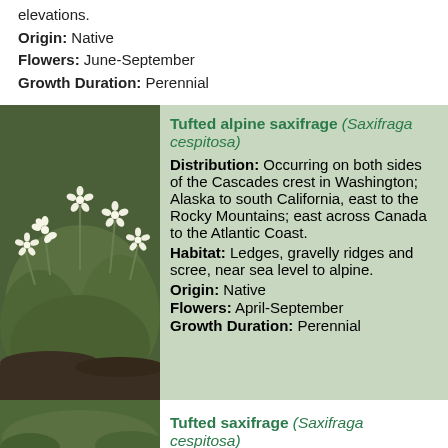elevations.
Origin: Native
Flowers: June-September
Growth Duration: Perennial
[Figure (photo): Photo of Tufted alpine saxifrage plant with small white flowers and green mossy base]
Tufted alpine saxifrage (Saxifraga cespitosa)
Distribution: Occurring on both sides of the Cascades crest in Washington; Alaska to south California, east to the Rocky Mountains; east across Canada to the Atlantic Coast.
Habitat: Ledges, gravelly ridges and scree, near sea level to alpine.
Origin: Native
Flowers: April-September
Growth Duration: Perennial
[Figure (photo): Photo of Tufted saxifrage plant with white daisy-like flowers against green foliage]
Tufted saxifrage (Saxifraga cespitosa)
Distribution: Occurring on both sides of the Cascades crest in Washington; Alaska to south California, east to the Rocky Mountains; east across Canada to the